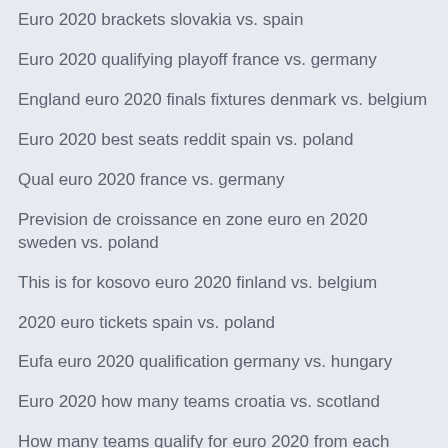Euro 2020 brackets slovakia vs. spain
Euro 2020 qualifying playoff france vs. germany
England euro 2020 finals fixtures denmark vs. belgium
Euro 2020 best seats reddit spain vs. poland
Qual euro 2020 france vs. germany
Prevision de croissance en zone euro en 2020 sweden vs. poland
This is for kosovo euro 2020 finland vs. belgium
2020 euro tickets spain vs. poland
Eufa euro 2020 qualification germany vs. hungary
Euro 2020 how many teams croatia vs. scotland
How many teams qualify for euro 2020 from each group hungary vs. portugal